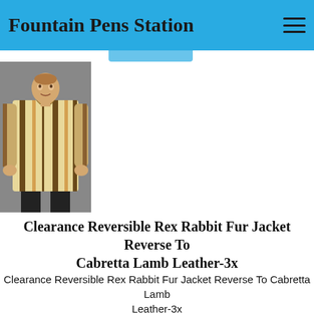Fountain Pens Station
[Figure (photo): A man wearing a reversible rex rabbit fur jacket with cream and brown vertical stripes, posing against a grey background.]
Clearance Reversible Rex Rabbit Fur Jacket Reverse To Cabretta Lamb Leather-3x
Clearance Reversible Rex Rabbit Fur Jacket Reverse To Cabretta Lamb Leather-3x